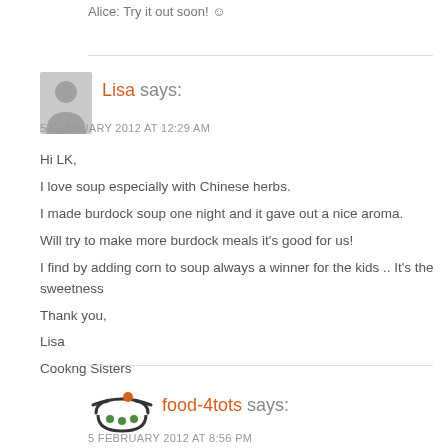Alice: Try it out soon! :)
Lisa says:
5 FEBRUARY 2012 AT 12:29 AM
Hi LK,
I love soup especially with Chinese herbs.
I made burdock soup one night and it gave out a nice aroma.
Will try to make more burdock meals it's good for us!
I find by adding corn to soup always a winner for the kids .. It's the sweetness
Thank you,
Lisa
Cookng Sisters
food-4tots says:
5 FEBRUARY 2012 AT 8:56 PM